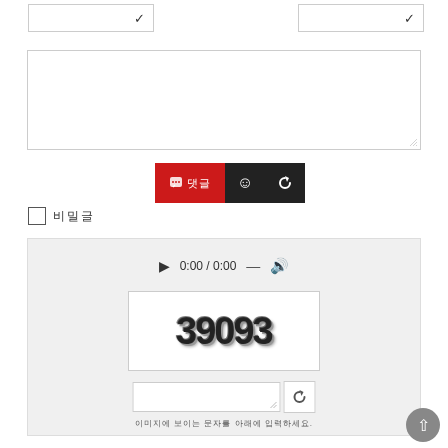[Figure (screenshot): Two dropdown/select boxes each showing a checkmark, side by side]
[Figure (screenshot): Large textarea input box]
[Figure (screenshot): Toolbar with three buttons: red comment button with Korean text, dark emoji button, dark refresh button]
[Figure (screenshot): Checkbox with Korean label text]
[Figure (screenshot): CAPTCHA section with audio player (0:00 / 0:00), graffiti-style numbers image showing 39093, text input field with refresh button, and Korean instructional text below]